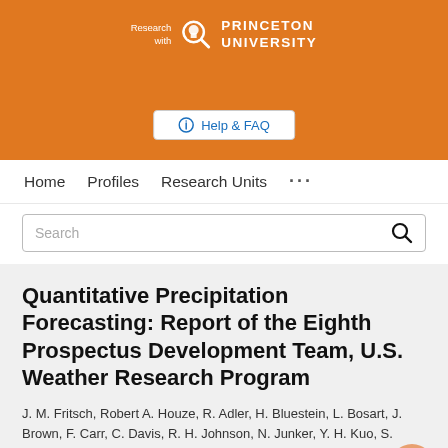[Figure (logo): Princeton University 'Research with' logo on orange background with magnifying glass icon]
Help & FAQ
Home  Profiles  Research Units  ...
Search
Quantitative Precipitation Forecasting: Report of the Eighth Prospectus Development Team, U.S. Weather Research Program
J. M. Fritsch, Robert A. Houze, R. Adler, H. Bluestein, L. Bosart, J. Brown, F. Carr, C. Davis, R. H. Johnson, N. Junker, Y. H. Kuo, S. Rutledge, James A. Smith, Z. Toth, J. W.